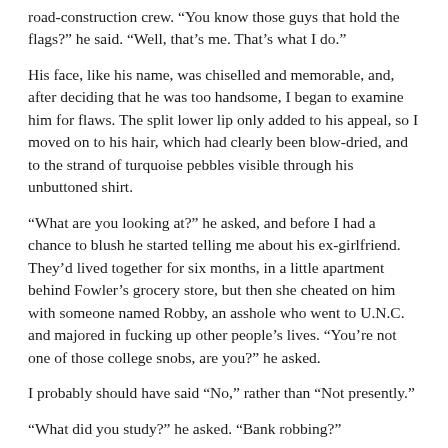road-construction crew. “You know those guys that hold the flags?” he said. “Well, that’s me. That’s what I do.”
His face, like his name, was chiselled and memorable, and, after deciding that he was too handsome, I began to examine him for flaws. The split lower lip only added to his appeal, so I moved on to his hair, which had clearly been blow-dried, and to the strand of turquoise pebbles visible through his unbuttoned shirt.
“What are you looking at?” he asked, and before I had a chance to blush he started telling me about his ex-girlfriend. They’d lived together for six months, in a little apartment behind Fowler’s grocery store, but then she cheated on him with someone named Robby, an asshole who went to U.N.C. and majored in fucking up other people’s lives. “You’re not one of those college snobs, are you?” he asked.
I probably should have said “No,” rather than “Not presently.”
“What did you study?” he asked. “Bank robbing?”
“Excuse me?”